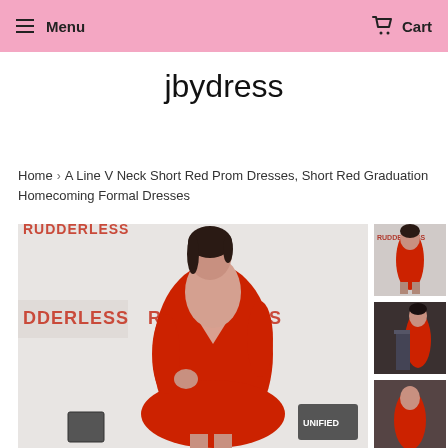Menu  Cart
jbydress
Home › A Line V Neck Short Red Prom Dresses, Short Red Graduation Homecoming Formal Dresses
[Figure (photo): Woman wearing a short red satin V-neck dress at a Rudderless movie premiere event]
[Figure (photo): Thumbnail: same woman in red dress at Rudderless premiere, full body shot]
[Figure (photo): Thumbnail: woman in red dress at another event, side view]
[Figure (photo): Thumbnail: partial view, bottom portion visible]